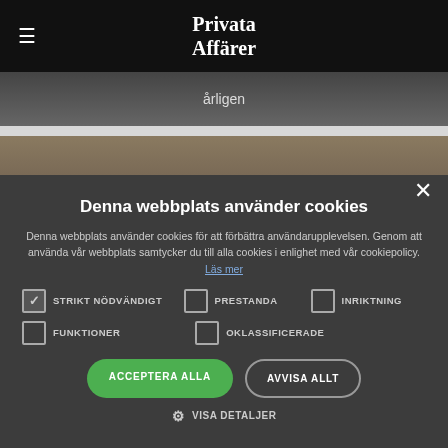Privata Affärer
[Figure (screenshot): Partial background image of a vehicle/road visible behind nav bar, with text 'årligen']
[Figure (screenshot): Second background image stripe showing shelving/warehouse]
Denna webbplats använder cookies
Denna webbplats använder cookies för att förbättra användarupplevelsen. Genom att använda vår webbplats samtycker du till alla cookies i enlighet med vår cookiepolicy. Läs mer
STRIKT NÖDVÄNDIGT (checked)
PRESTANDA (unchecked)
INRIKTNING (unchecked)
FUNKTIONER (unchecked)
OKLASSIFICERADE (unchecked)
ACCEPTERA ALLA
AVVISA ALLT
VISA DETALJER